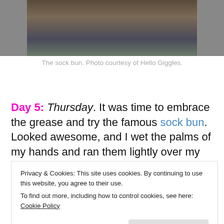[Figure (photo): A person with long brown hair styled in a sock bun, photo cropped to show top portion only.]
The sock bun. Photo courtesy of Hello Giggles.
Day 5: Thursday. It was time to embrace the grease and try the famous sock bun. Looked awesome, and I wet the palms of my hands and ran them lightly over my hair around the crown (not touching the bun) and then put a
Privacy & Cookies: This site uses cookies. By continuing to use this website, you agree to their use.
To find out more, including how to control cookies, see here: Cookie Policy
around my head.